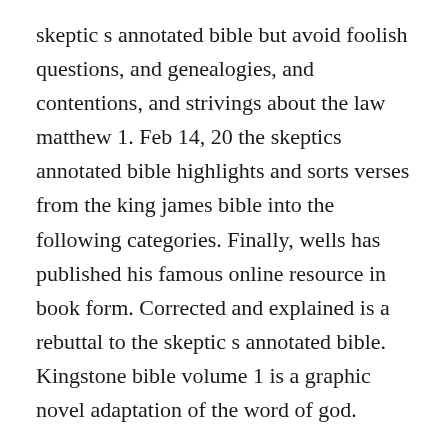skeptic s annotated bible but avoid foolish questions, and genealogies, and contentions, and strivings about the law matthew 1. Feb 14, 20 the skeptics annotated bible highlights and sorts verses from the king james bible into the following categories. Finally, wells has published his famous online resource in book form. Corrected and explained is a rebuttal to the skeptic s annotated bible. Kingstone bible volume 1 is a graphic novel adaptation of the word of god.
Use features like bookmarks, note taking and